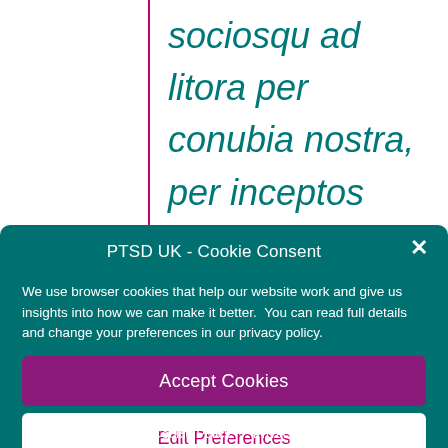sociosqu ad litora per conubia nostra, per inceptos himenaeos Aenean non turpis vitae
PTSD UK - Cookie Consent
We use browser cookies that help our website work and give us insights into how we can make it better.  You can read full details and change your preferences in our privacy policy.
Accept Cookies
Edit Preferences
Cookie Policy   Privacy